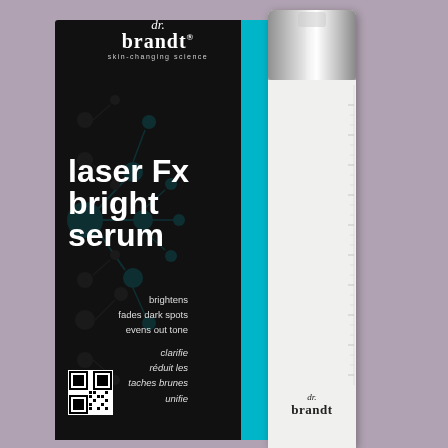[Figure (photo): Product photo of dr. brandt laser Fx bright serum showing a black packaging box with teal stripe and a white pump bottle with silver cap. The box displays the product name 'laser Fx bright serum' in large white bold text, with benefits listed in English (brightens, fades dark spots, evens out tone) and French (clarifie, réduit les taches brunes, unifie), along with the dr. brandt skin-changing science logo and a QR code. The white bottle shows the product name rotated vertically and the dr. brandt logo at the bottom.]